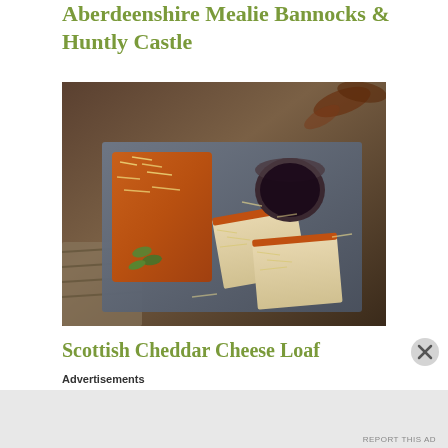Aberdeenshire Mealie Bannocks & Huntly Castle
[Figure (photo): Overhead view of a Scottish Cheddar Cheese Loaf on a dark slate board, with two cut slices showing the interior, scattered grated cheese, small gherkins, a pot of dark chutney, and autumn leaves in the background.]
Scottish Cheddar Cheese Loaf
Advertisements